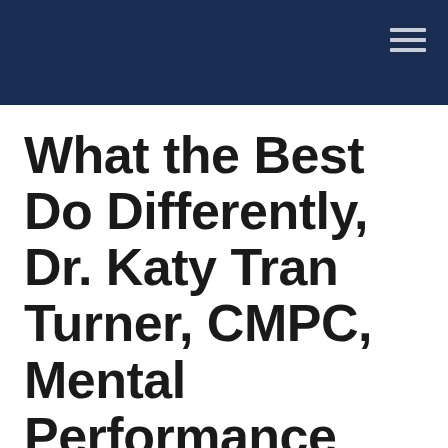What the Best Do Differently, Dr. Katy Tran Turner, CMPC, Mental Performance Coach for the Buffalo Bills and Buffalo Sabres